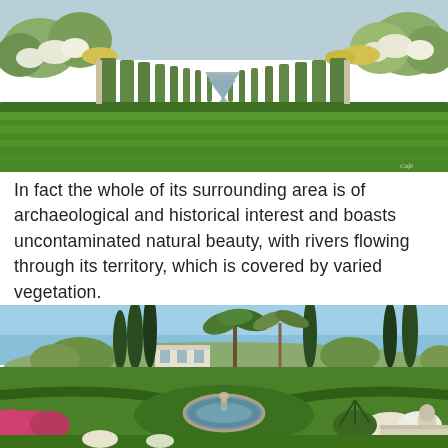[Figure (photo): Formal garden with a long rectangular reflecting pool or pathway lined with hedges and flowering plants, lush green lawn in the foreground, blue sky visible behind. A small watermark is visible in the bottom right corner of the image.]
In fact the whole of its surrounding area is of archaeological and historical interest and boasts uncontaminated natural beauty, with rivers flowing through its territory, which is covered by varied vegetation.
[Figure (photo): Mediterranean garden with tall cypress trees, palm trees, manicured hedges, a circular stone fountain in the center, colorful flowering plants including bougainvillea, and a white building visible in the background under a clear blue sky.]